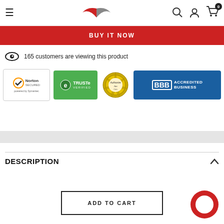Navigation header with hamburger menu, logo, search, account, and cart icons
BUY IT NOW
165 customers are viewing this product
[Figure (logo): Trust badges: Norton Secured powered by Symantec, TRUSTe Verified, Authorize.Net, BBB Accredited Business]
DESCRIPTION
ADD TO CART
[Figure (illustration): Red circular chat/messenger bubble icon in bottom right corner]